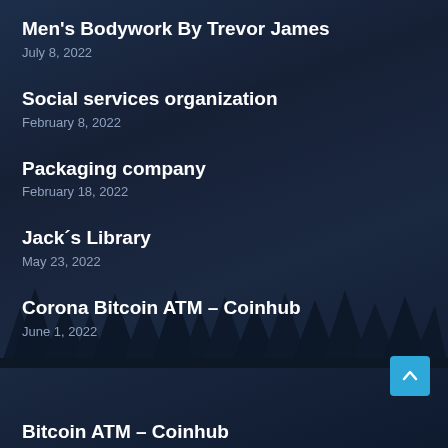Men's Bodywork By Trevor James
July 8, 2022
Social services organization
February 8, 2022
Packaging company
February 18, 2022
Jack´s Library
May 23, 2022
Corona Bitcoin ATM – Coinhub
June 1, 2022
Bitcoin ATM – Coinhub